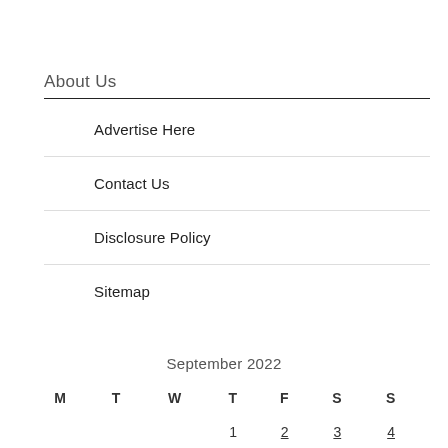About Us
Advertise Here
Contact Us
Disclosure Policy
Sitemap
September 2022
| M | T | W | T | F | S | S |
| --- | --- | --- | --- | --- | --- | --- |
|  |  |  | 1 | 2 | 3 | 4 |